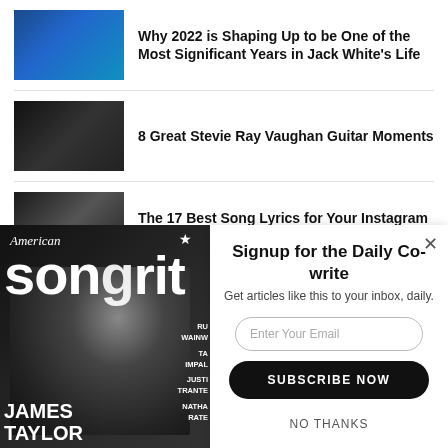Why 2022 is Shaping Up to be One of the Most Significant Years in Jack White's Life
8 Great Stevie Ray Vaughan Guitar Moments
The 17 Best Song Lyrics for Your Instagram Caption
[Figure (other): American Songwriter magazine cover featuring James Taylor]
Signup for the Daily Co-write
Get articles like this to your inbox, daily.
Enter Your Email
SUBSCRIBE NOW
NO THANKS